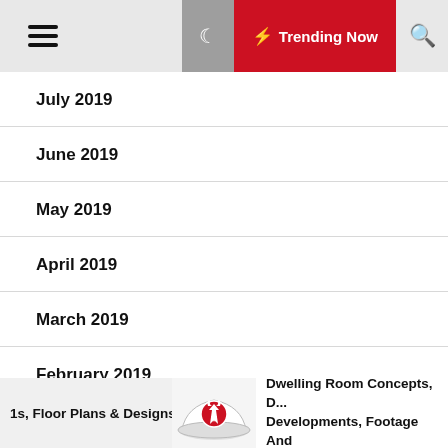Trending Now
July 2019
June 2019
May 2019
April 2019
March 2019
February 2019
January 2019
1s, Floor Plans & Designs | Dwelling Room Concepts, D... Developments, Footage And